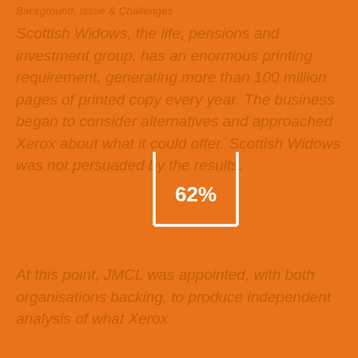Background, Issue & Challenges
Scottish Widows, the life, pensions and investment group, has an enormous printing requirement, generating more than 100 million pages of printed copy every year. The business began to consider alternatives and approached Xerox about what it could offer. Scottish Widows was not persuaded by the results.
[Figure (infographic): White bracket/box graphic with '62%' displayed in white bold text in the center, overlaid on the orange background text]
At this point, JMCL was appointed, with both organisations backing, to produce independent analysis of what Xerox